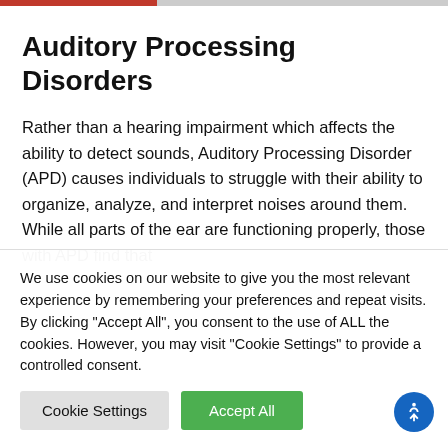Auditory Processing Disorders
Rather than a hearing impairment which affects the ability to detect sounds, Auditory Processing Disorder (APD) causes individuals to struggle with their ability to organize, analyze, and interpret noises around them. While all parts of the ear are functioning properly, those with APD find that
We use cookies on our website to give you the most relevant experience by remembering your preferences and repeat visits. By clicking “Accept All”, you consent to the use of ALL the cookies. However, you may visit "Cookie Settings" to provide a controlled consent.